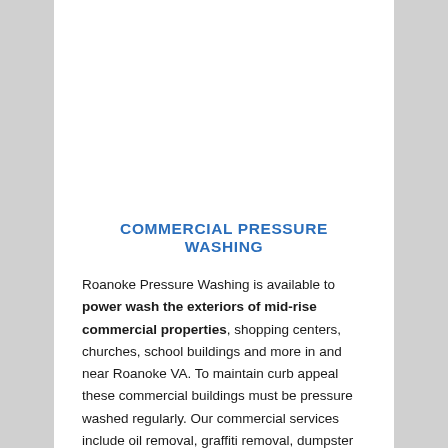COMMERCIAL PRESSURE WASHING
Roanoke Pressure Washing is available to power wash the exteriors of mid-rise commercial properties, shopping centers, churches, school buildings and more in and near Roanoke VA. To maintain curb appeal these commercial buildings must be pressure washed regularly. Our commercial services include oil removal, graffiti removal, dumpster cleaning, parking garage cleaning and more. Customers want a clean